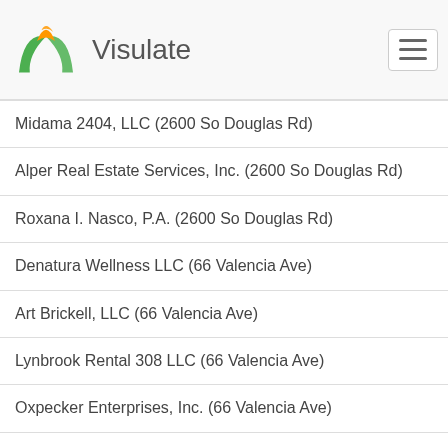Visulate
Midama 2404, LLC (2600 So Douglas Rd)
Alper Real Estate Services, Inc. (2600 So Douglas Rd)
Roxana I. Nasco, P.A. (2600 So Douglas Rd)
Denatura Wellness LLC (66 Valencia Ave)
Art Brickell, LLC (66 Valencia Ave)
Lynbrook Rental 308 LLC (66 Valencia Ave)
Oxpecker Enterprises, Inc. (66 Valencia Ave)
Mm Valencia Rental LLC (66 Valencia Avenue Apt 1001)
Lynbrook Rental 207 LLC (66 Valencia Avenue Apt 1001)
Cuencasa LLC (66 Valencia Ave)